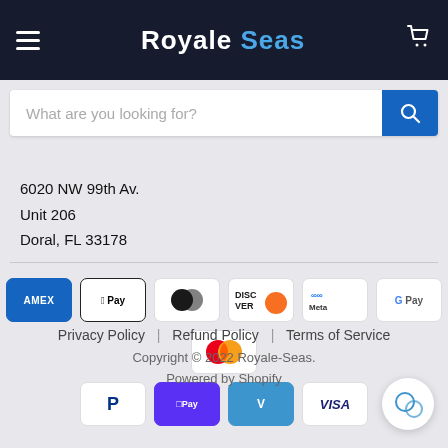Royale Seas
What are you looking for?
6020 NW 99th Av.
Unit 206
Doral, FL 33178
[Figure (logo): Payment method icons: AMEX, Apple Pay, Diners Club, Discover, Meta Pay, Google Pay, Mastercard, PayPal, Shop Pay, Venmo, Visa]
Privacy Policy | Refund Policy | Terms of Service
Copyright © 2022 Royale-Seas.
Powered by Shopify